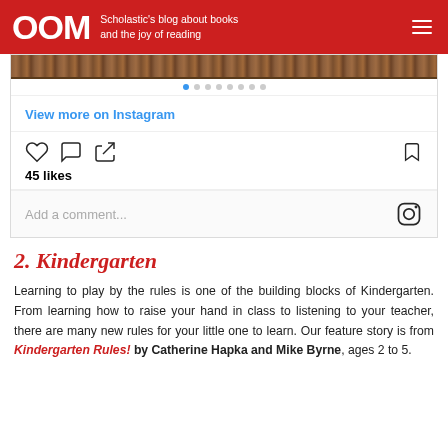OOM — Scholastic's blog about books and the joy of reading
[Figure (screenshot): Instagram embed showing a wood-textured image with navigation dots, View more on Instagram link, like/comment/share action icons, 45 likes count, and Add a comment input with Instagram logo]
2. Kindergarten
Learning to play by the rules is one of the building blocks of Kindergarten. From learning how to raise your hand in class to listening to your teacher, there are many new rules for your little one to learn. Our feature story is from Kindergarten Rules! by Catherine Hapka and Mike Byrne, ages 2 to 5.